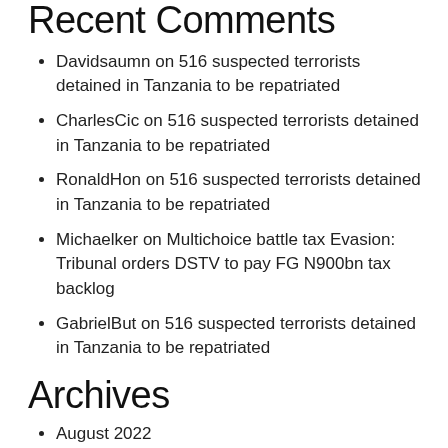Recent Comments
Davidsaumn on 516 suspected terrorists detained in Tanzania to be repatriated
CharlesCic on 516 suspected terrorists detained in Tanzania to be repatriated
RonaldHon on 516 suspected terrorists detained in Tanzania to be repatriated
Michaelker on Multichoice battle tax Evasion: Tribunal orders DSTV to pay FG N900bn tax backlog
GabrielBut on 516 suspected terrorists detained in Tanzania to be repatriated
Archives
August 2022
July 2022
June 2022